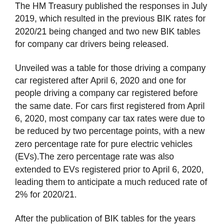The HM Treasury published the responses in July 2019, which resulted in the previous BIK rates for 2020/21 being changed and two new BIK tables for company car drivers being released.
Unveiled was a table for those driving a company car registered after April 6, 2020 and one for people driving a company car registered before the same date. For cars first registered from April 6, 2020, most company car tax rates were due to be reduced by two percentage points, with a new zero percentage rate for pure electric vehicles (EVs).The zero percentage rate was also extended to EVs registered prior to April 6, 2020, leading them to anticipate a much reduced rate of 2% for 2020/21.
After the publication of BIK tables for the years running to 2023, HM Treasury said that rates would be ‘realigned’ after this date.
Overall, the new Budget is set to deliver change across the country, help deliver world-class public services,